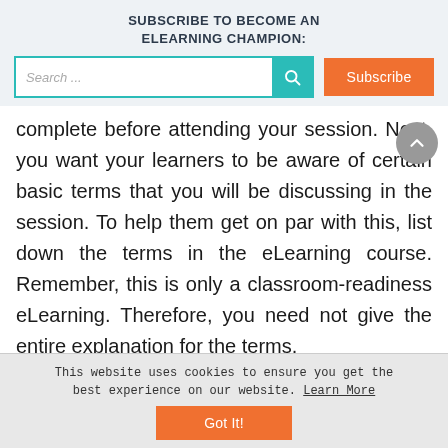SUBSCRIBE TO BECOME AN ELEARNING CHAMPION:
[Figure (screenshot): Search bar with teal search button and orange Subscribe button]
complete before attending your session. Next, you want your learners to be aware of certain basic terms that you will be discussing in the session. To help them get on par with this, list down the terms in the eLearning course. Remember, this is only a classroom-readiness eLearning. Therefore, you need not give the entire explanation for the terms.
This website uses cookies to ensure you get the best experience on our website. Learn More
Got It!